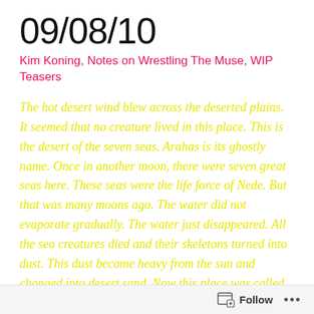09/08/10
Kim Koning, Notes on Wrestling The Muse, WIP Teasers
The hot desert wind blew across the deserted plains. It seemed that no creature lived in this place. This is the desert of the seven seas. Arahas is its ghostly name. Once in another moon, there were seven great seas here. These seas were the life force of Nede. But that was many moons ago. The water did not evaporate gradually. The water just disappeared. All the sea creatures died and their skeletons turned into dust. This dust became heavy from the sun and changed into desert sand. Now this place was called The Desert of the Seven Seas. The sand was white like freshly fallen snow and it glittered like a thousand crystals. This desert is the boundary between Nede and the other lands. Once you could sail across the waters and
Follow ...